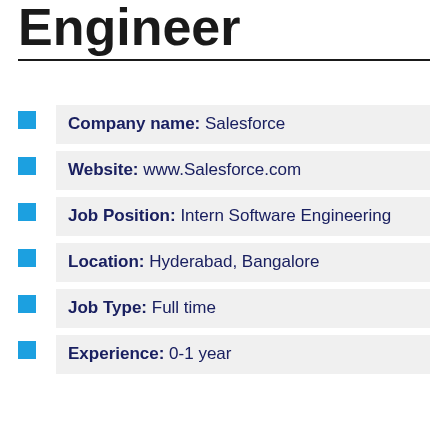Engineer
Company name: Salesforce
Website: www.Salesforce.com
Job Position: Intern Software Engineering
Location: Hyderabad, Bangalore
Job Type: Full time
Experience: 0-1 year